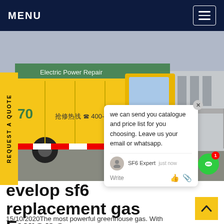MENU
[Figure (photo): Yellow electric power truck with Chinese text and phone number 400-659-6699, parked near industrial infrastructure. SF6China watermark visible.]
REQUEST A QUOTE
we can send you catalogue and price list for you choosing. Leave us your email or whatsapp.
SF6 Expert  just now
Write
SF6China
evelop sf6 replacement gas Europe
15/10/2020The most powerful greenhouse gas. With